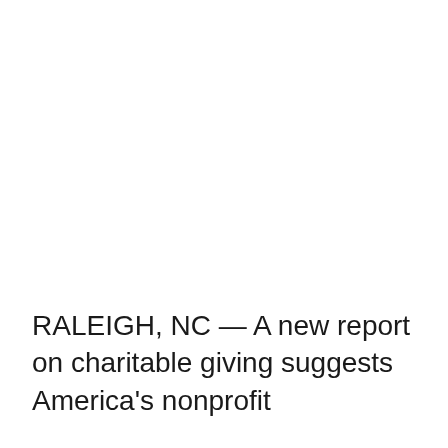RALEIGH, NC — A new report on charitable giving suggests America's nonprofit